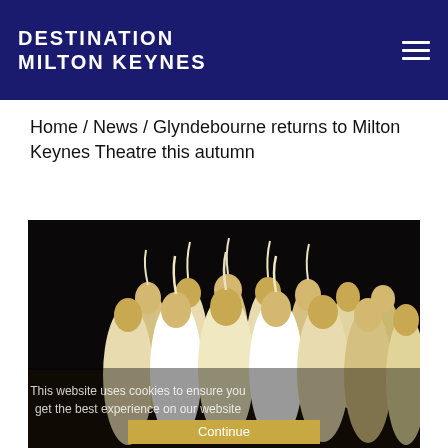DESTINATION MILTON KEYNES
Home / News / Glyndebourne returns to Milton Keynes Theatre this autumn
[Figure (photo): A group of female opera performers in 18th-century white and gold costumes with elaborate wigs and feathered headpieces, seated on a darkened stage. A semi-transparent cookie consent message overlays the lower portion of the image: 'This website uses cookies to ensure you get the best experience on our website' with a gold 'Continue' button.]
This website uses cookies to ensure you get the best experience on our website
Continue